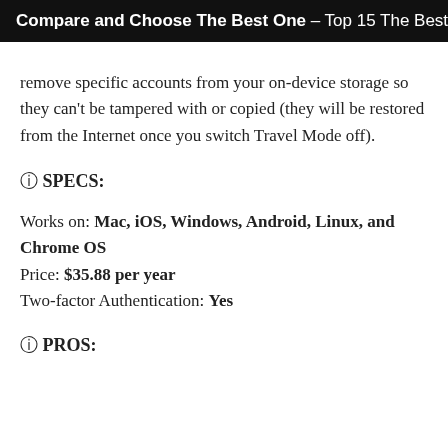Compare and Choose The Best One – Top 15 The Best
remove specific accounts from your on-device storage so they can't be tampered with or copied (they will be restored from the Internet once you switch Travel Mode off).
🛈 SPECS:
Works on: Mac, iOS, Windows, Android, Linux, and Chrome OS
Price: $35.88 per year
Two-factor Authentication: Yes
🛈 PROS: